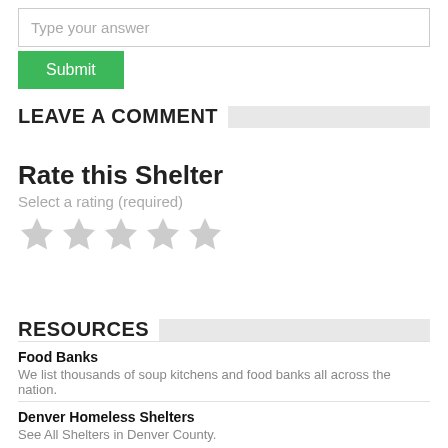Type your answer
Submit
LEAVE A COMMENT
Rate this Shelter
Select a rating (required)
[Figure (other): Five gray empty star rating icons]
RESOURCES
Food Banks
We list thousands of soup kitchens and food banks all across the nation.
Denver Homeless Shelters
See All Shelters in Denver County.